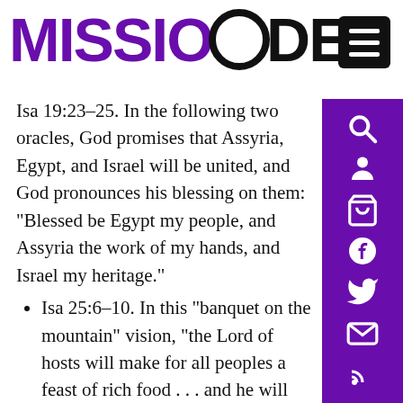[Figure (logo): Missio Dei logo with purple MISSIO text and black DEI with circle symbol]
Isa 19:23–25. In the following two oracles, God promises that Assyria, Egypt, and Israel will be united, and God pronounces his blessing on them: “Blessed be Egypt my people, and Assyria the work of my hands, and Israel my heritage.”
Isa 25:6–10. In this “banquet on the mountain” vision, “the Lord of hosts will make for all peoples a feast of rich food . . . and he will destroy on this mountain the shroud cast over all peoples . . . he will swallow up death forever.”